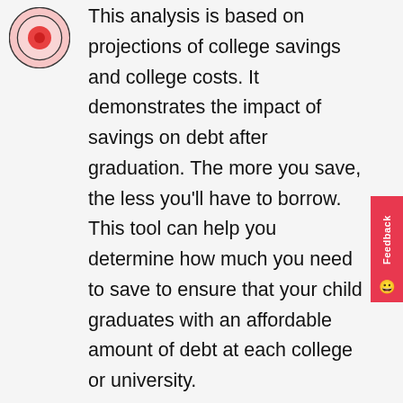[Figure (illustration): Circular icon with concentric circles in red and pink, resembling a target or record symbol]
This analysis is based on projections of college savings and college costs. It demonstrates the impact of savings on debt after graduation. The more you save, the less you'll have to borrow. This tool can help you determine how much you need to save to ensure that your child graduates with an affordable amount of debt at each college or university.
This tool assumes that a college's net price will continue to increase at the same rate as recent increases. It also assumes that the earnings in a college